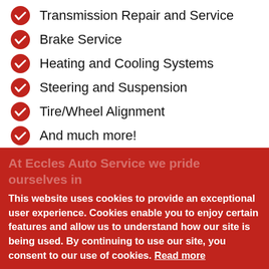Transmission Repair and Service
Brake Service
Heating and Cooling Systems
Steering and Suspension
Tire/Wheel Alignment
And much more!
At Eccles Auto Service we pride ourselves in
This website uses cookies to provide an exceptional user experience. Cookies enable you to enjoy certain features and allow us to understand how our site is being used. By continuing to use our site, you consent to our use of cookies. Read more
Decline  Accept Cookies
schedule your next visit!